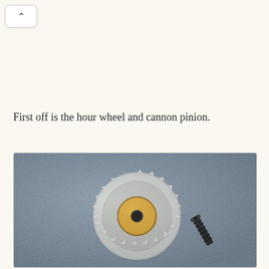^
First off is the hour wheel and cannon pinion.
[Figure (photo): Close-up photograph of a watch/clock hour wheel gear (silver/gold toothed gear with central brass hub and hole) and a cannon pinion (small dark threaded component) placed on a blue-grey fabric background.]